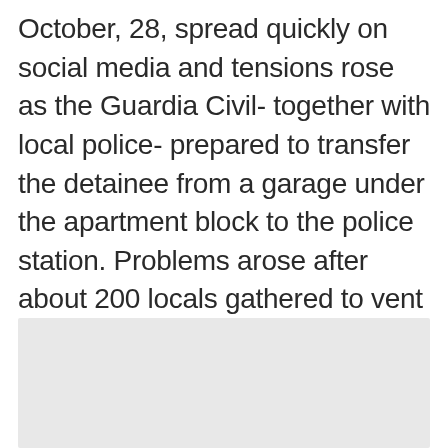October, 28, spread quickly on social media and tensions rose as the Guardia Civil- together with local police- prepared to transfer the detainee from a garage under the apartment block to the police station. Problems arose after about 200 locals gathered to vent their anger over the murder of the young boy. Members of the local community shouted “lynch him” as the patrol car sped out of the complex while taking the suspect into custody.
[Figure (photo): A light gray placeholder image block at the bottom of the page.]